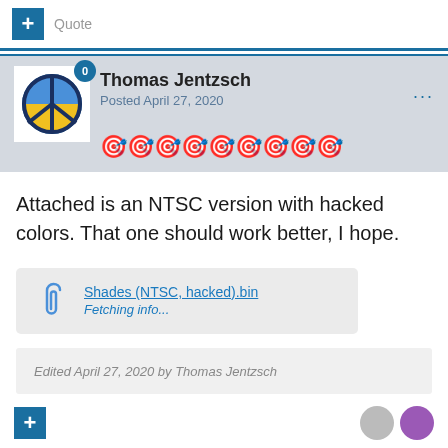[Figure (screenshot): Forum post interface screenshot showing a plus button and Quote text]
Thomas Jentzsch
Posted April 27, 2020
Attached is an NTSC version with hacked colors. That one should work better, I hope.
Shades (NTSC, hacked).bin
Fetching info...
Edited April 27, 2020 by Thomas Jentzsch